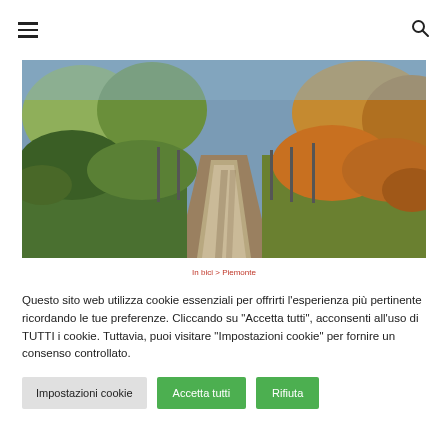≡  🔍
[Figure (photo): Dirt path through autumn vineyard landscape with colorful foliage and trees on either side]
In bici  >  Piemonte
Questo sito web utilizza cookie essenziali per offrirti l'esperienza più pertinente ricordando le tue preferenze. Cliccando su "Accetta tutti", acconsenti all'uso di TUTTI i cookie. Tuttavia, puoi visitare "Impostazioni cookie" per fornire un consenso controllato.
Impostazioni cookie
Accetta tutti
Rifiuta